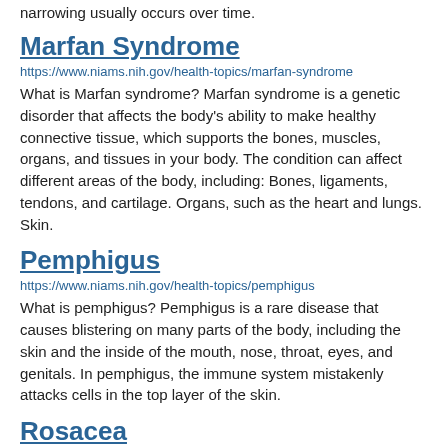narrowing usually occurs over time.
Marfan Syndrome
https://www.niams.nih.gov/health-topics/marfan-syndrome
What is Marfan syndrome? Marfan syndrome is a genetic disorder that affects the body's ability to make healthy connective tissue, which supports the bones, muscles, organs, and tissues in your body. The condition can affect different areas of the body, including: Bones, ligaments, tendons, and cartilage. Organs, such as the heart and lungs. Skin.
Pemphigus
https://www.niams.nih.gov/health-topics/pemphigus
What is pemphigus? Pemphigus is a rare disease that causes blistering on many parts of the body, including the skin and the inside of the mouth, nose, throat, eyes, and genitals. In pemphigus, the immune system mistakenly attacks cells in the top layer of the skin.
Rosacea
https://www.niams.nih.gov/health-topics/rosacea
What is rosacea? Rosacea (ro-ZAY-she-ah) is a long-term skin condition that causes redness and other symptoms, usually on the face.